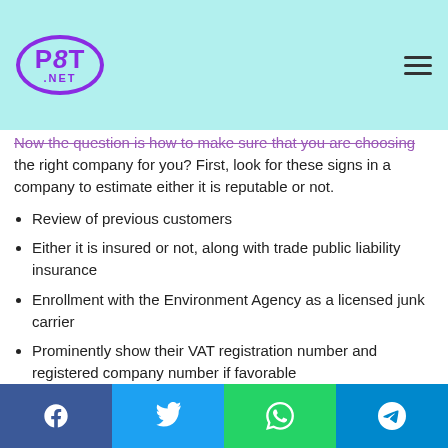P8T .NET
Now the question is how to make sure that you are choosing the right company for you? First, look for these signs in a company to estimate either it is reputable or not.
Review of previous customers
Either it is insured or not, along with trade public liability insurance
Enrollment with the Environment Agency as a licensed junk carrier
Prominently show their VAT registration number and registered company number if favorable
A good website ensures that the company is working and investing so long
Facebook Twitter WhatsApp Telegram